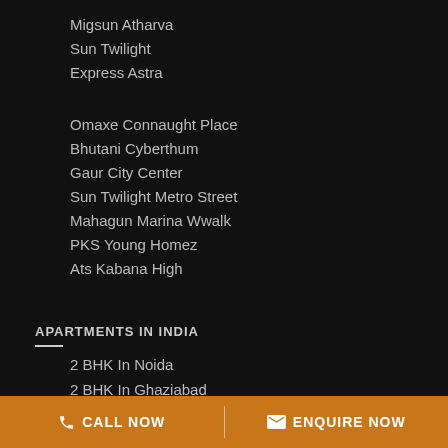Migsun Atharva
Sun Twilight
Express Astra
Omaxe Connaught Place
Bhutani Cyberthum
Gaur City Center
Sun Twilight Metro Street
Mahagun Marina Wwalk
PKS Young Homez
Ats Kabana High
APARTMENTS IN INDIA
2 BHK In Noida
2 BHK In Ghaziabad
2 BHK In Gurgaon
2 BHK In Banglore
CALL NOW   ENQUIRE NOW